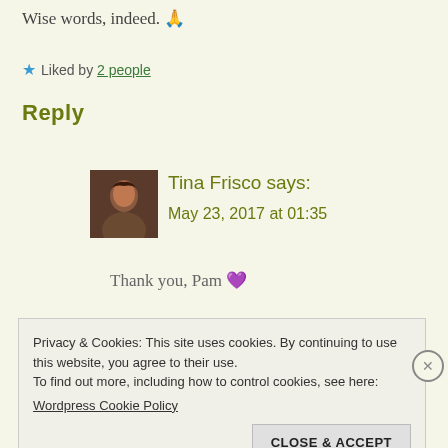Wise words, indeed. 🙏
★ Liked by 2 people
Reply
Tina Frisco says:
May 23, 2017 at 01:35
Thank you, Pam 💜
Privacy & Cookies: This site uses cookies. By continuing to use this website, you agree to their use.
To find out more, including how to control cookies, see here:
Wordpress Cookie Policy
CLOSE & ACCEPT